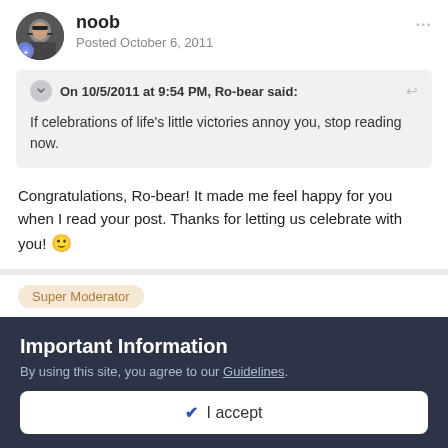noob
Posted October 6, 2011
On 10/5/2011 at 9:54 PM, Ro-bear said:
If celebrations of life's little victories annoy you, stop reading now.
Congratulations, Ro-bear! It made me feel happy for you when I read your post. Thanks for letting us celebrate with you! 🙂
Super Moderator
Important Information
By using this site, you agree to our Guidelines.
✔ I accept